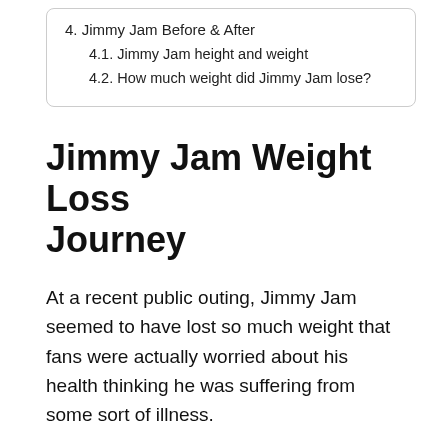4. Jimmy Jam Before & After
4.1. Jimmy Jam height and weight
4.2. How much weight did Jimmy Jam lose?
Jimmy Jam Weight Loss Journey
At a recent public outing, Jimmy Jam seemed to have lost so much weight that fans were actually worried about his health thinking he was suffering from some sort of illness.
Just a few years back in January 2018, Jimmy was on a red carpet event with her daughter